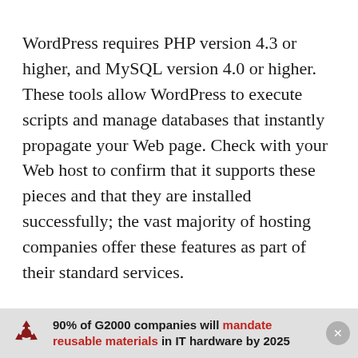WordPress requires PHP version 4.3 or higher, and MySQL version 4.0 or higher. These tools allow WordPress to execute scripts and manage databases that instantly propagate your Web page. Check with your Web host to confirm that it supports these pieces and that they are installed successfully; the vast majority of hosting companies offer these features as part of their standard services.
At the heart of every WordPress blog is a MySQL database that contains all of its posts and settings. It’s a good idea to set up this database on your host
90% of G2000 companies will mandate reusable materials in IT hardware by 2025